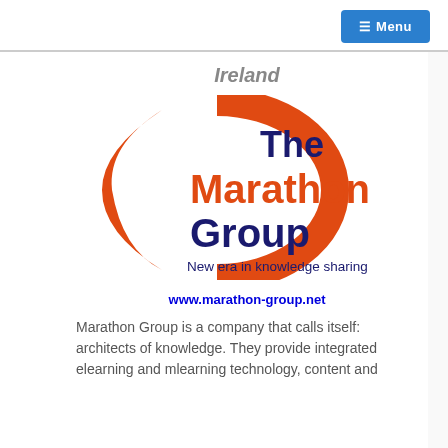☰ Menu
Ireland
[Figure (logo): The Marathon Group logo — an orange crescent/arc shape on the left with dark navy blue text reading 'The' and 'Group' and orange text reading 'Marathon', with the tagline 'New era in knowledge sharing' in dark blue below]
www.marathon-group.net
Marathon Group is a company that calls itself: architects of knowledge. They provide integrated elearning and mlearning technology, content and